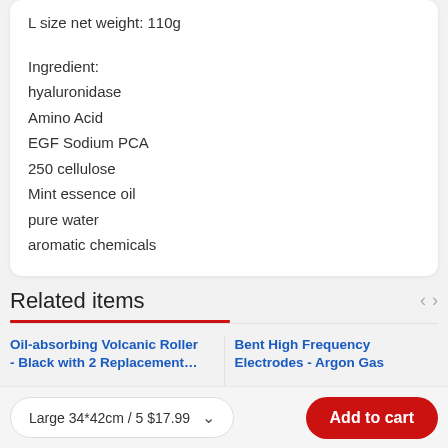L size net weight: 110g

Ingredient:
hyaluronidase
Amino Acid
EGF Sodium PCA
250 cellulose
Mint essence oil
pure water
aromatic chemicals
Related items
Oil-absorbing Volcanic Roller - Black with 2 Replacement...
Bent High Frequency Electrodes - Argon Gas
Large 34*42cm / 5 $17.99
Add to cart